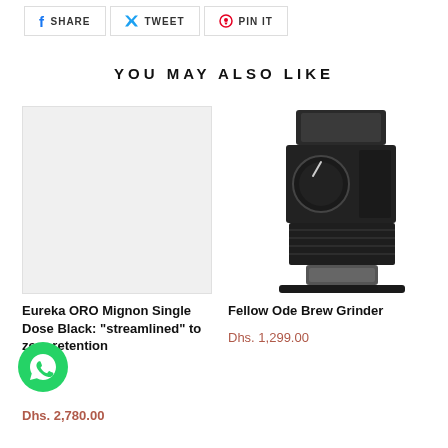SHARE  TWEET  PIN IT
YOU MAY ALSO LIKE
[Figure (photo): Empty light gray product image placeholder for Eureka ORO Mignon Single Dose Black grinder]
[Figure (photo): Fellow Ode Brew Grinder product photo - black rectangular coffee grinder with large dial knob, finned heat-sink body, and catch cup on a flat base]
Eureka ORO Mignon Single Dose Black: "streamlined" to zero retention
Dhs. 2,780.00
Fellow Ode Brew Grinder
Dhs. 1,299.00